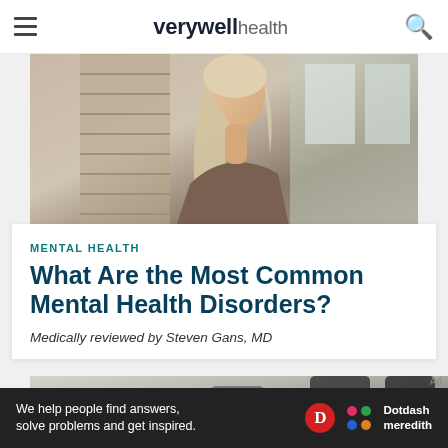verywell health
[Figure (photo): Woman with blonde hair looking out a window, side profile, wearing a brown top]
MENTAL HEALTH
What Are the Most Common Mental Health Disorders?
Medically reviewed by Steven Gans, MD
[Figure (photo): Person sitting on a couch with dark gray pillow and yellow pillow, partial view of legs in dark pants]
We help people find answers, solve problems and get inspired.
[Figure (logo): Dotdash Meredith logo]